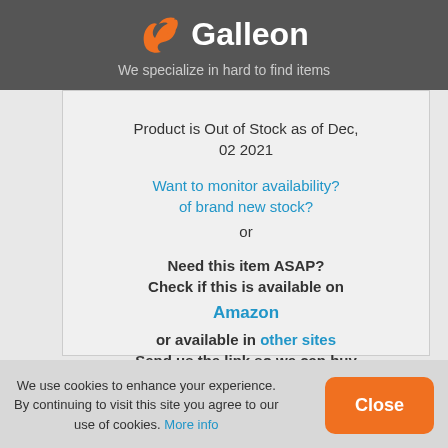Galleon — We specialize in hard to find items
Product is Out of Stock as of Dec, 02 2021
Want to monitor availability? of brand new stock?
or
Need this item ASAP? Check if this is available on Amazon or available in other sites Send us the link so we can buy for you
We use cookies to enhance your experience. By continuing to visit this site you agree to our use of cookies. More info